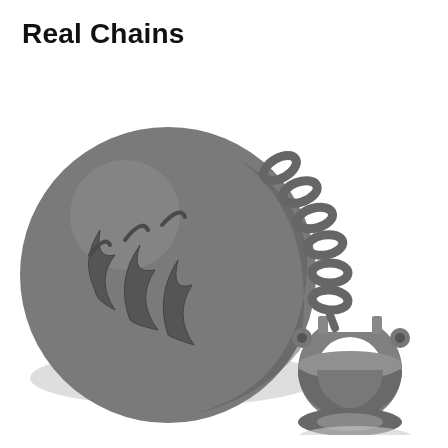Real Chains
[Figure (illustration): Grayscale illustration of a ball and chain — a large dark gray spherical ball with flame-like claw marks engraved on its surface, connected by a metal chain to an open iron shackle/manacle on the right side. A shadow is cast beneath the ball. The overall style is a flat/isometric cartoon icon in shades of gray.]